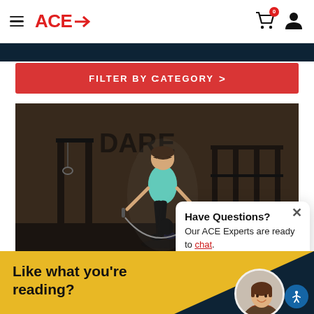ACE→ (navigation header with hamburger menu, cart icon with badge 0, and user icon)
FILTER BY CATEGORY >
[Figure (photo): Woman in teal tank top jumping rope in a dark gym with brick walls and fitness equipment in the background]
7 Health Benefits of Jumping Rope
Have Questions? Our ACE Experts are ready to chat.
[Figure (photo): Avatar of a woman with short brown hair and red clothing, smiling]
Like what you're reading?